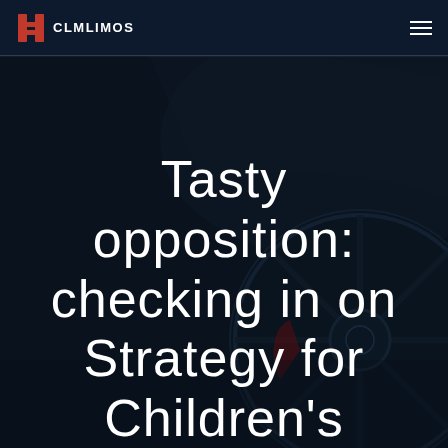[Figure (photo): Dark navy background photo of a luxury Mercedes car wheel and body panel, used as hero image background for the CLMLIMOS website.]
CLMLIMOS
Tasty opposition: checking in on Strategy for Children's 'Hamburger Conflict